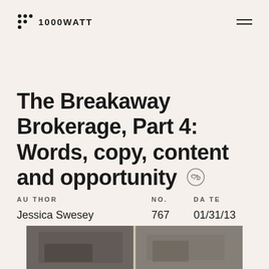1000WATT
The Breakaway Brokerage, Part 4: Words, copy, content and opportunity
AUTHOR: Jessica Swesey | NO.: 767 | DATE: 01/31/13
[Figure (photo): Partial photo strip at bottom of page showing what appears to be an outdoor or architectural scene in muted tones.]